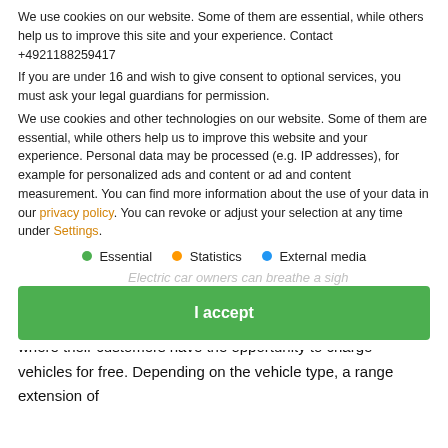We use cookies on our website. Some of them are essential, while others help us to improve this site and your experience. Contact +4921188259417
Currently there are only a few electric filling stations in Germany. However, that could be quite different soon: Aldi Süd is now expanding its network of
If you are under 16 and wish to give consent to optional services, you must ask your legal guardians for permission.
Aldi is not the only trading company that brings its customers in the
We use cookies and other technologies on our website. Some of them are essential, while others help us to improve this website and your experience. Personal data may be processed (e.g. IP addresses), for example for personalized ads and content or ad and content measurement. You can find more information about the use of your data in our privacy policy. You can revoke or adjust your selection at any time under Settings.
Essential
Statistics
External media
Electric car owners can breathe a sigh of relief, because soon it could be much easier for them to travel across Germany. Along the German
I accept
motorways, Aldi Süd wants to establish fast-charging stations, where their customers have the opportunity to charge vehicles for free. Depending on the vehicle type, a range extension of